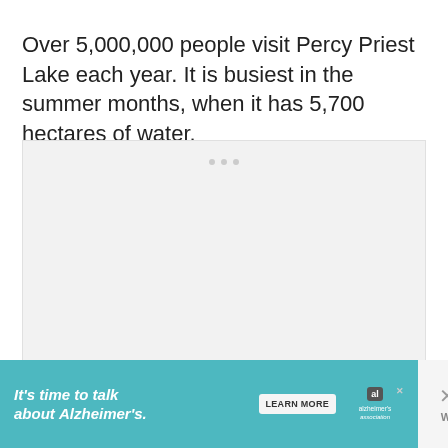Over 5,000,000 people visit Percy Priest Lake each year. It is busiest in the summer months, when it has 5,700 hectares of water.
[Figure (other): A light gray placeholder box representing an embedded media element or advertisement placeholder, with three small gray dots near the top center.]
[Figure (other): Alzheimer's Association advertisement banner in teal color reading 'It's time to talk about Alzheimer's.' with a 'Learn More' button, Alzheimer's Association logo, and a close button with a W superscript p icon.]